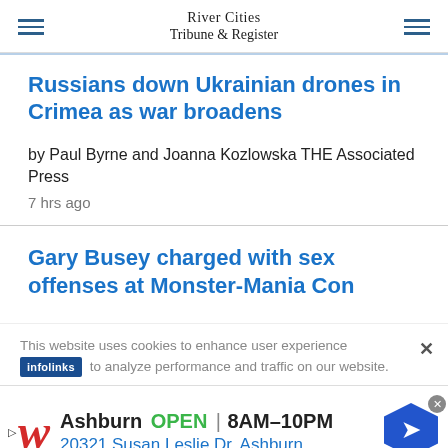River Cities Tribune & Register
Russians down Ukrainian drones in Crimea as war broadens
by Paul Byrne and Joanna Kozlowska THE Associated Press
7 hrs ago
Gary Busey charged with sex offenses at Monster-Mania Con
This website uses cookies to enhance user experience to analyze performance and traffic on our website.
[Figure (screenshot): Advertisement for Walgreens store in Ashburn: OPEN 8AM-10PM, 20321 Susan Leslie Dr, Ashburn]